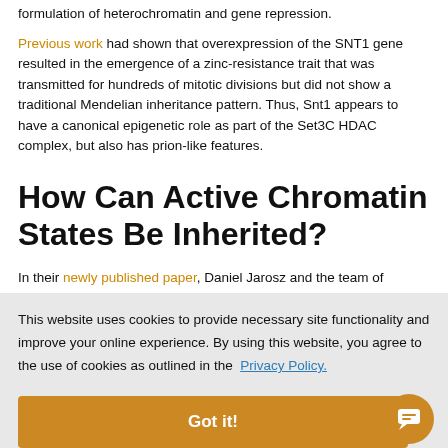formulation of heterochromatin and gene repression.
Previous work had shown that overexpression of the SNT1 gene resulted in the emergence of a zinc-resistance trait that was transmitted for hundreds of mitotic divisions but did not show a traditional Mendelian inheritance pattern. Thus, Snt1 appears to have a canonical epigenetic role as part of the Set3C HDAC complex, but also has prion-like features.
How Can Active Chromatin States Be Inherited?
In their newly published paper, Daniel Jarosz and the team of researchers at Stanford dug further into the prion-like features of Snt1 and the zinc-resistance trait it confers. The prion in question, which
This website uses cookies to provide necessary site functionality and improve your online experience. By using this website, you agree to the use of cookies as outlined in the Privacy Policy.
Got it!